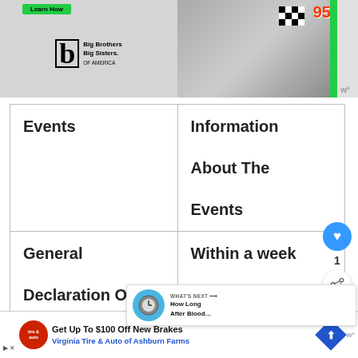[Figure (photo): Advertisement banner: Big Brothers Big Sisters of America logo on left with 'Learn How' green button; racing-themed photo on right with person wearing #95 jersey holding checkered flag]
| Events | Information About The Events |
| --- | --- |
| General Declaration Of | Within a week |
[Figure (screenshot): 'What's Next' overlay showing 'How Long After Blood...' with clock/watch thumbnail]
[Figure (photo): Bottom advertisement: 'Get Up To $100 Off New Brakes' - Virginia Tire & Auto of Ashburn Farms with Tire & Auto logo]